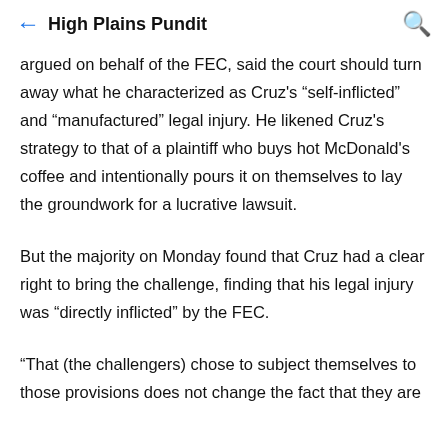High Plains Pundit
argued on behalf of the FEC, said the court should turn away what he characterized as Cruz’s “self-inflicted” and “manufactured” legal injury. He likened Cruz’s strategy to that of a plaintiff who buys hot McDonald’s coffee and intentionally pours it on themselves to lay the groundwork for a lucrative lawsuit.
But the majority on Monday found that Cruz had a clear right to bring the challenge, finding that his legal injury was “directly inflicted” by the FEC.
“That (the challengers) chose to subject themselves to those provisions does not change the fact that they are